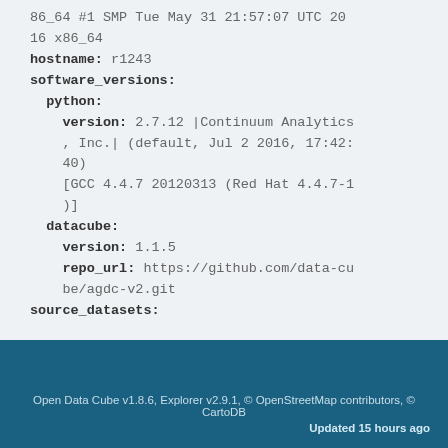86_64 #1 SMP Tue May 31 21:57:07 UTC 2016 x86_64
hostname: r1243
software_versions:
  python:
    version: 2.7.12 |Continuum Analytics, Inc.| (default, Jul 2 2016, 17:42:40)
    [GCC 4.4.7 20120313 (Red Hat 4.4.7-1)]
  datacube:
    version: 1.1.5
    repo_url: https://github.com/data-cube/agdc-v2.git
source_datasets:
Open Data Cube v1.8.6, Explorer v2.9.1, © OpenStreetMap contributors, © CartoDB
Updated 15 hours ago